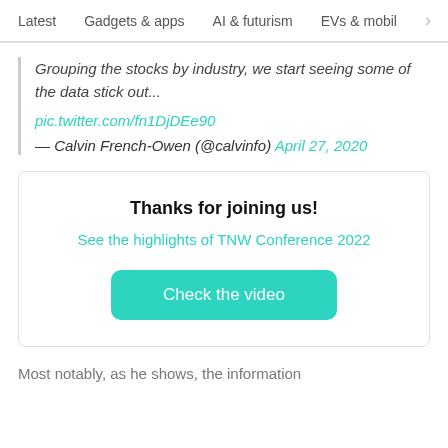Latest   Gadgets & apps   AI & futurism   EVs & mobil   >
Grouping the stocks by industry, we start seeing some of the data stick out...
pic.twitter.com/fn1DjDEe90
— Calvin French-Owen (@calvinfo) April 27, 2020
Thanks for joining us!
See the highlights of TNW Conference 2022
Check the video
Most notably, as he shows, the information